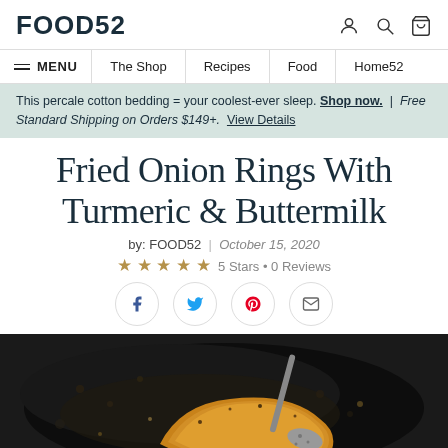FOOD52
MENU | The Shop | Recipes | Food | Home52
This percale cotton bedding = your coolest-ever sleep. Shop now. | Free Standard Shipping on Orders $149+. View Details
Fried Onion Rings With Turmeric & Buttermilk
by: FOOD52 | October 15, 2020
★★★★★ 5 Stars • 0 Reviews
[Figure (screenshot): Social share buttons: Facebook, Twitter, Pinterest, Email]
[Figure (photo): Photo of onion rings being fried in hot oil in a dark pan, with a slotted spoon lifting a golden ring]